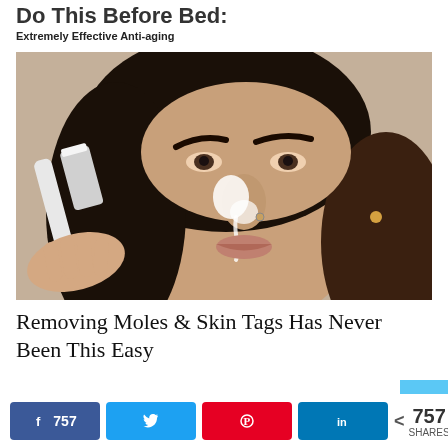Do This Before Bed:
Extremely Effective Anti-aging
[Figure (photo): A woman with dark hair applying white product to her nose with a toothbrush, close-up beauty/skincare photo]
Removing Moles & Skin Tags Has Never Been This Easy
757 SHARES — Facebook 757, Twitter, Pinterest, LinkedIn